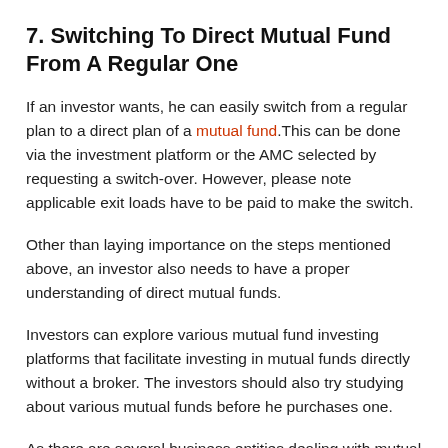7. Switching To Direct Mutual Fund From A Regular One
If an investor wants, he can easily switch from a regular plan to a direct plan of a mutual fund.This can be done via the investment platform or the AMC selected by requesting a switch-over. However, please note applicable exit loads have to be paid to make the switch.
Other than laying importance on the steps mentioned above, an investor also needs to have a proper understanding of direct mutual funds.
Investors can explore various mutual fund investing platforms that facilitate investing in mutual funds directly without a broker. The investors should also try studying about various mutual funds before he purchases one.
As there are several business entities dealing with mutual funds, you can easily choose one that